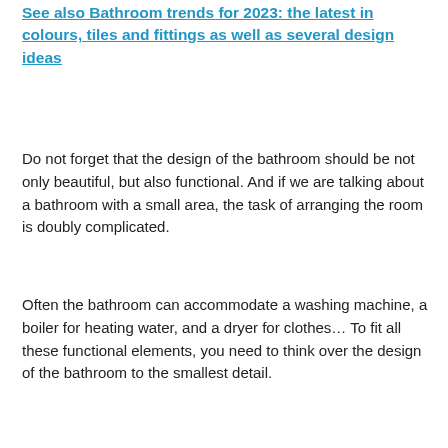See also Bathroom trends for 2023: the latest in colours, tiles and fittings as well as several design ideas
Do not forget that the design of the bathroom should be not only beautiful, but also functional. And if we are talking about a bathroom with a small area, the task of arranging the room is doubly complicated.
Often the bathroom can accommodate a washing machine, a boiler for heating water, and a dryer for clothes… To fit all these functional elements, you need to think over the design of the bathroom to the smallest detail.
Modern bathroom colors trends 2024-2025